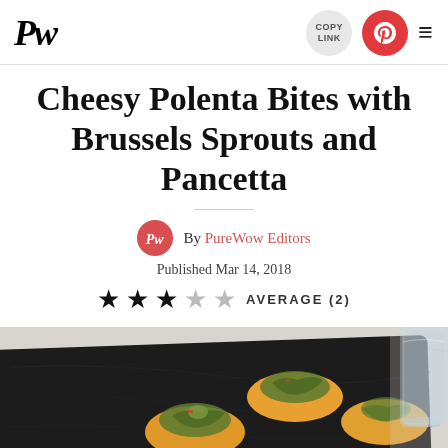PW [logo] | COPY LINK | Pinterest | Menu
Cheesy Polenta Bites with Brussels Sprouts and Pancetta
By PureWow Editors
Published Mar 14, 2018
★★★☆☆ AVERAGE (2)
[Figure (photo): Overhead photo of cheesy polenta bites topped with brussels sprouts and pancetta on a dark slate board, with a glass of water on the right side and a marble surface background. Advertisement overlay text visible.]